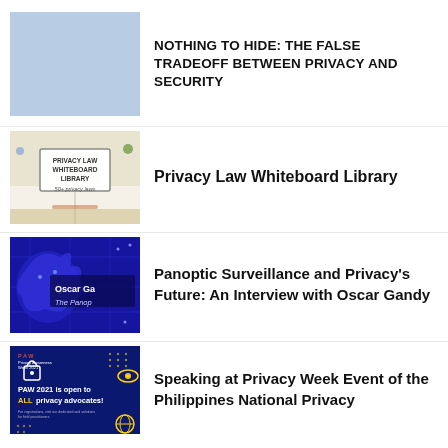[Figure (illustration): Light blue/periwinkle placeholder rectangle thumbnail]
NOTHING TO HIDE: THE FALSE TRADEOFF BETWEEN PRIVACY AND SECURITY
[Figure (illustration): Privacy Law Whiteboard Library graphic with illustrated characters, landmarks, and whiteboard sign reading 'PRIVACY LAW WHITEBOARD LIBRARY 50+ privacy laws']
Privacy Law Whiteboard Library
[Figure (illustration): Dark blue digital brain circuit board graphic with text 'Oscar Ga...' and 'The Panop...']
Panoptic Surveillance and Privacy's Future: An Interview with Oscar Gandy
[Figure (illustration): Dark blue graphic for Privacy Awareness Week 2021 with eye icon, lock icon, and text 'PAW 2021 is open to ALL privacy advocates!']
Speaking at Privacy Week Event of the Philippines National Privacy